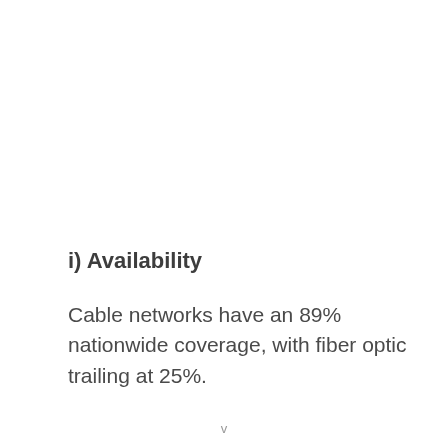i) Availability
Cable networks have an 89% nationwide coverage, with fiber optic trailing at 25%.
v